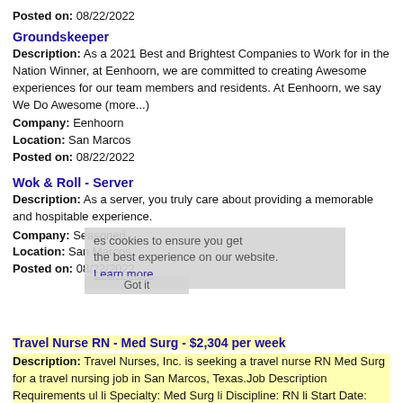Posted on: 08/22/2022
Groundskeeper
Description: As a 2021 Best and Brightest Companies to Work for in the Nation Winner, at Eenhoorn, we are committed to creating Awesome experiences for our team members and residents. At Eenhoorn, we say We Do Awesome (more...)
Company: Eenhoorn
Location: San Marcos
Posted on: 08/22/2022
Wok & Roll - Server
Description: As a server, you truly care about providing a memorable and hospitable experience.
Company: Seasoned
Location: San Marcos
Posted on: 08/22/2022
Travel Nurse RN - Med Surg - $2,304 per week
Description: Travel Nurses, Inc. is seeking a travel nurse RN Med Surg for a travel nursing job in San Marcos, Texas.Job Description Requirements ul li Specialty: Med Surg li Discipline: RN li Start Date: (more...)
Company: Travel Nurses, Inc.